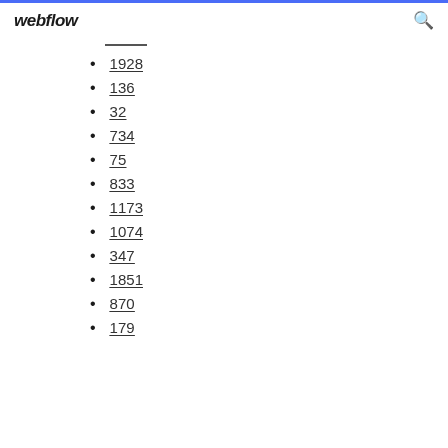webflow
1928
136
32
734
75
833
1173
1074
347
1851
870
179